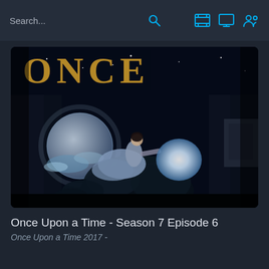Search...
[Figure (screenshot): Once Upon a Time TV show promotional image showing a woman in a blue dress riding a giant frog in a magical forest scene with the word ONCE in gold letters at the top]
Once Upon a Time - Season 7 Episode 6
Once Upon a Time 2017 -